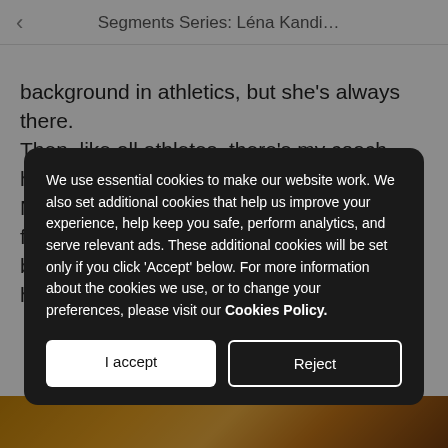Segments Series: Léna Kandi…
background in athletics, but she's always there. Then, like all athletes, there's my coach, he's called Marc Reuze. We've only worked together for a year, but we work well together: straight away I had some
We use essential cookies to make our website work. We also set additional cookies that help us improve your experience, help keep you safe, perform analytics, and serve relevant ads. These additional cookies will be set only if you click 'Accept' below. For more information about the cookies we use, or to change your preferences, please visit our Cookies Policy.
[Figure (screenshot): Two buttons: 'I accept' (white background) and 'Reject' (dark background with white border)]
[Figure (photo): Bottom portion of page showing a golden/brown textured image partially visible]